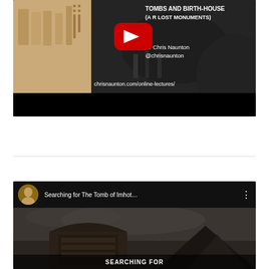[Figure (screenshot): YouTube video thumbnail for a lecture about Egyptian tombs and birth-house (lost monuments) by Dr Chris Naunton, showing Egyptian hieroglyphic relief on the left and an archaeological excavation scene on the right, with YouTube play button overlay. Text shows title, author Dr Chris Naunton @chrisnaunton, and URL chrisnaunton.com/online-lectures/]
[Figure (screenshot): YouTube video card for 'Searching for The Tomb of Imhot...' showing a dark thumbnail with architectural/Egyptian imagery and text 'SEARCHING FOR' at the bottom. Has circular avatar, title text, and three-dot menu icon.]